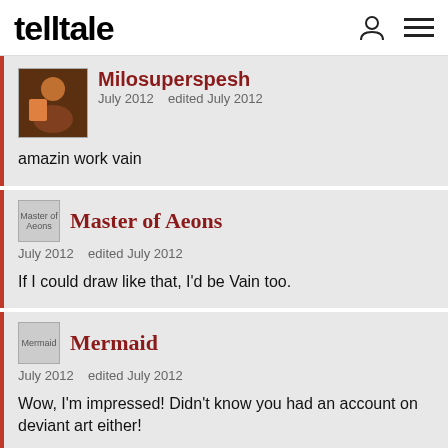telltale
Milosuperspesh
July 2012   edited July 2012

amazin work vain
Master of Aeons
July 2012   edited July 2012

If I could draw like that, I'd be Vain too.
Mermaid
July 2012   edited July 2012

Wow, I'm impressed! Didn't know you had an account on deviant art either!

(Heh, I like how she's wearing his nerd sweater.)